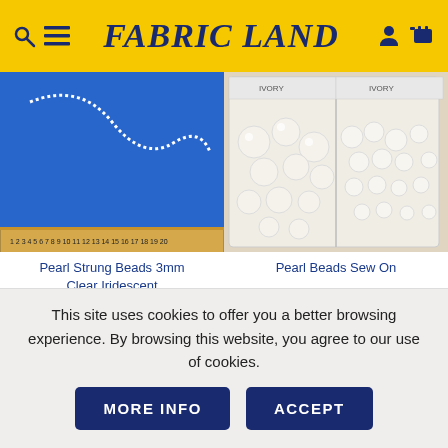FABRIC LAND
[Figure (photo): Pearl strung beads on blue fabric with a ruler at the bottom]
[Figure (photo): Pearl beads sew on in plastic packaging bags]
Pearl Strung Beads 3mm Clear Iridescent
Pearl Beads Sew On
★★★★★
£0.50 - £0.79 / per metre
£1.50 per packet
This site uses cookies to offer you a better browsing experience. By browsing this website, you agree to our use of cookies.
MORE INFO
ACCEPT